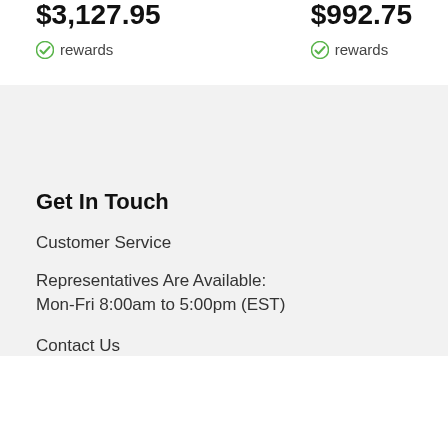$3,127.95
✓ rewards
$992.75
✓ rewards
Get In Touch
Customer Service
Representatives Are Available:
Mon-Fri 8:00am to 5:00pm (EST)
Contact Us